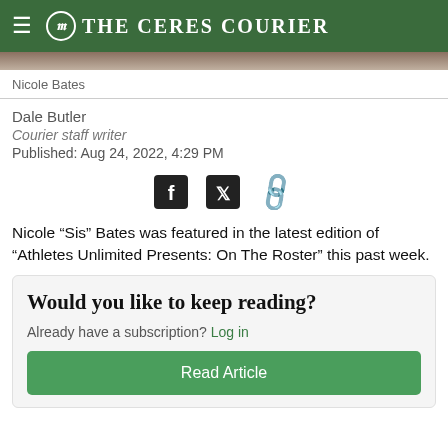The Ceres Courier
Nicole Bates
Dale Butler
Courier staff writer
Published: Aug 24, 2022, 4:29 PM
[Figure (other): Social sharing icons: Facebook, Twitter, and link]
Nicole “Sis” Bates was featured in the latest edition of “Athletes Unlimited Presents: On The Roster” this past week.
Would you like to keep reading?
Already have a subscription? Log in
Read Article